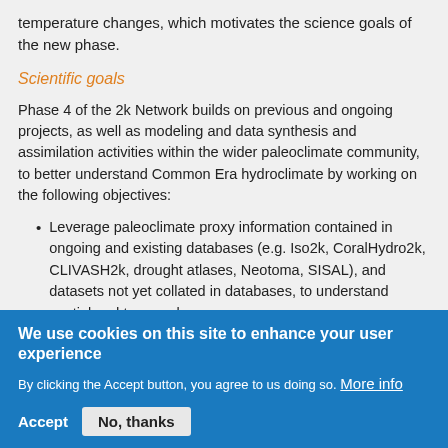temperature changes, which motivates the science goals of the new phase.
Scientific goals
Phase 4 of the 2k Network builds on previous and ongoing projects, as well as modeling and data synthesis and assimilation activities within the wider paleoclimate community, to better understand Common Era hydroclimate by working on the following objectives:
Leverage paleoclimate proxy information contained in ongoing and existing databases (e.g. Iso2k, CoralHydro2k, CLIVASH2k, drought atlases, Neotoma, SISAL), and datasets not yet collated in databases, to understand spatial and temporal
We use cookies on this site to enhance your user experience
By clicking the Accept button, you agree to us doing so. More info
Accept   No, thanks